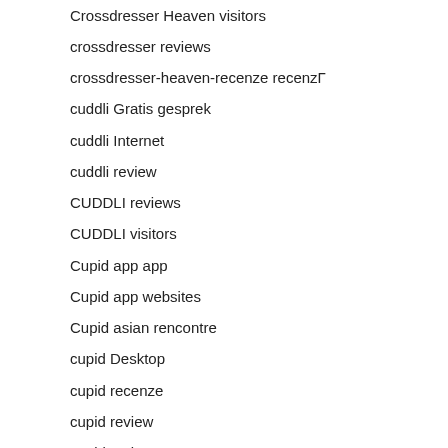Crossdresser Heaven visitors
crossdresser reviews
crossdresser-heaven-recenze recenzГ
cuddli Gratis gesprek
cuddli Internet
cuddli review
CUDDLI reviews
CUDDLI visitors
Cupid app app
Cupid app websites
Cupid asian rencontre
cupid Desktop
cupid recenze
cupid review
cupid reviews
curves connect como funciona
curves connect login
curves connect review